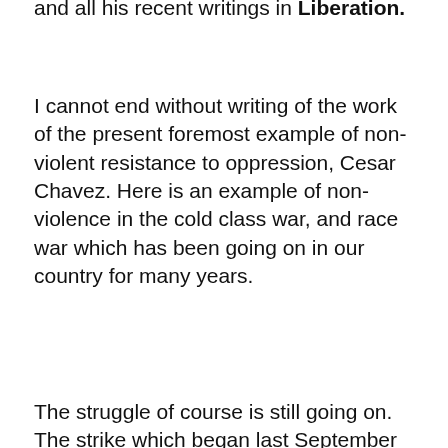Aggressive World published by Harper in 1971 and all his recent writings in Liberation.
I cannot end without writing of the work of the present foremost example of non-violent resistance to oppression, Cesar Chavez. Here is an example of non-violence in the cold class war, and race war which has been going on in our country for many years.
The struggle of course is still going on. The strike which began last September in Delano, California, among Filipino and Mexican grape pickers scored a great success when its boycott of Schenley products, wines and whiskeys brought about a recognition of the Farm Workers Union and a willingness to negotiate on the part of the company. But there are still a score or more of other planters to deal with. The Christian Brothers and the Jesuits who own vineyards also recognize the union. The famous Lenten pilgrimage from Delano to Sacramento with the Guadalupe Virgin banner leading it, ended on Easter Sunday. Five hundred miles of walking to